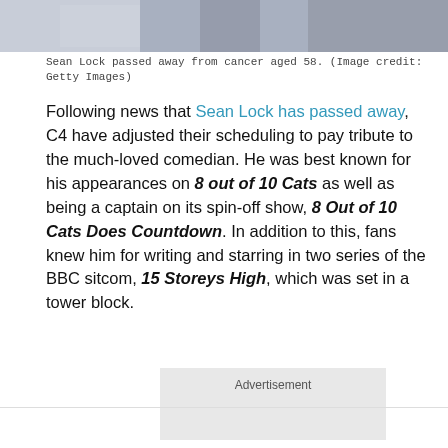[Figure (photo): Partial photo of Sean Lock, showing lower face/jacket area cropped at top of page]
Sean Lock passed away from cancer aged 58. (Image credit: Getty Images)
Following news that Sean Lock has passed away, C4 have adjusted their scheduling to pay tribute to the much-loved comedian. He was best known for his appearances on 8 out of 10 Cats as well as being a captain on its spin-off show, 8 Out of 10 Cats Does Countdown. In addition to this, fans knew him for writing and starring in two series of the BBC sitcom, 15 Storeys High, which was set in a tower block.
Advertisement